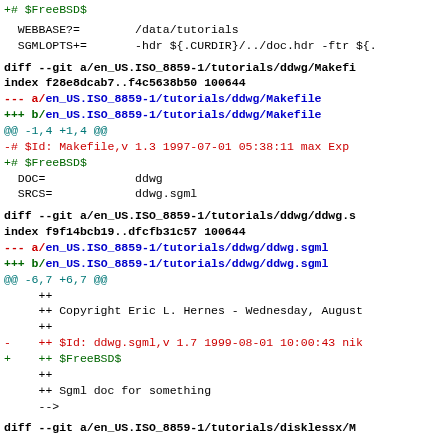+# $FreeBSD$
WEBBASE?=        /data/tutorials
  SGMLOPTS+=        -hdr ${.CURDIR}/../doc.hdr -ftr ${.
diff --git a/en_US.ISO_8859-1/tutorials/ddwg/Makefi
index f28e8dcab7..f4c5638b50 100644
--- a/en_US.ISO_8859-1/tutorials/ddwg/Makefile
+++ b/en_US.ISO_8859-1/tutorials/ddwg/Makefile
@@ -1,4 +1,4 @@
-# $Id: Makefile,v 1.3 1997-07-01 05:38:11 max Exp
+# $FreeBSD$
  DOC=              ddwg
  SRCS=             ddwg.sgml
diff --git a/en_US.ISO_8859-1/tutorials/ddwg/ddwg.s
index f9f14bcb19..dfcfb31c57 100644
--- a/en_US.ISO_8859-1/tutorials/ddwg/ddwg.sgml
+++ b/en_US.ISO_8859-1/tutorials/ddwg/ddwg.sgml
@@ -6,7 +6,7 @@
      ++
      ++ Copyright Eric L. Hernes - Wednesday, August
      ++
-     ++ $Id: ddwg.sgml,v 1.7 1999-08-01 10:00:43 nik
+     ++ $FreeBSD$
      ++
      ++ Sgml doc for something
      -->
diff --git a/en_US.ISO_8859-1/tutorials/disklessx/M